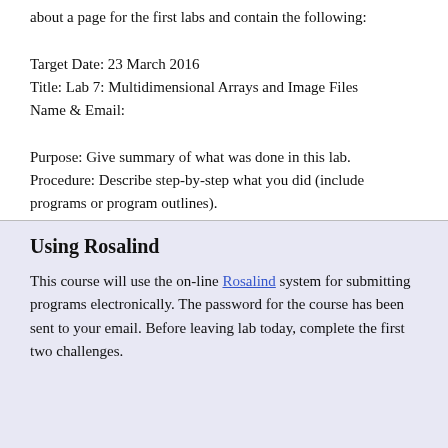about a page for the first labs and contain the following:

Target Date: 23 March 2016
Title: Lab 7: Multidimensional Arrays and Image Files
Name & Email:

Purpose: Give summary of what was done in this lab.
Procedure: Describe step-by-step what you did (include programs or program outlines).
Results: If applicable, show all data collected. Including screen shots is fine (can capture via the Grab program).
Discussion: Give a short explanation and interpretation of your results here.
Using Rosalind
This course will use the on-line Rosalind system for submitting programs electronically. The password for the course has been sent to your email. Before leaving lab today, complete the first two challenges.